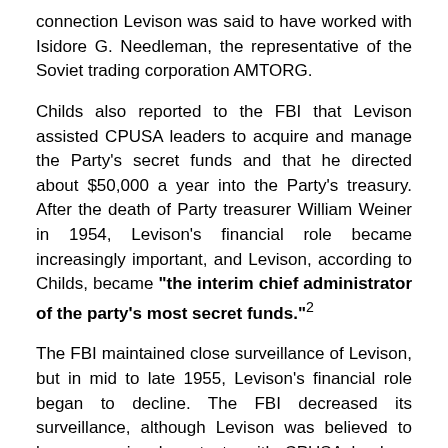connection Levison was said to have worked with Isidore G. Needleman, the representative of the Soviet trading corporation AMTORG.
Childs also reported to the FBI that Levison assisted CPUSA leaders to acquire and manage the Party's secret funds and that he directed about $50,000 a year into the Party's treasury. After the death of Party treasurer William Weiner in 1954, Levison's financial role became increasingly important, and Levison, according to Childs, became "the interim chief administrator of the party's most secret funds."²
The FBI maintained close surveillance of Levison, but in mid to late 1955, Levison's financial role began to decline. The FBI decreased its surveillance, although Levison was believed to have occasional contacts with CPUSA leaders. The Bureau eventually terminated surveillance of Levison, probably sometime in 1957.